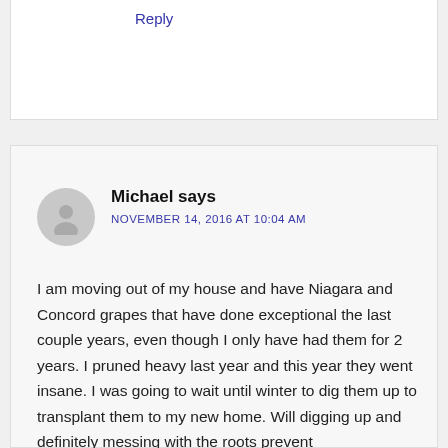Reply
Michael says
NOVEMBER 14, 2016 AT 10:04 AM
I am moving out of my house and have Niagara and Concord grapes that have done exceptional the last couple years, even though I only have had them for 2 years. I pruned heavy last year and this year they went insane. I was going to wait until winter to dig them up to transplant them to my new home. Will digging up and definitely messing with the roots prevent